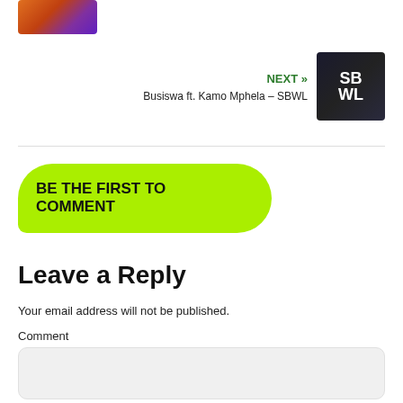[Figure (photo): Partially visible album art thumbnail at top left, warm orange/purple tones]
NEXT » Busiswa ft. Kamo Mphela – SBWL
[Figure (photo): Album cover thumbnail for SBWL by Busiswa ft. Kamo Mphela showing two women and SBWL text]
BE THE FIRST TO COMMENT
Leave a Reply
Your email address will not be published.
Comment